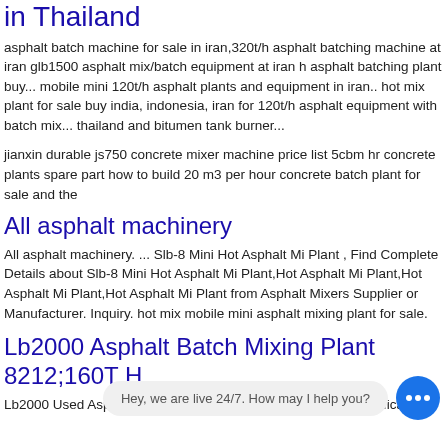in Thailand
asphalt batch machine for sale in iran,320t/h asphalt batching machine at iran glb1500 asphalt mix/batch equipment at iran h asphalt batching plant buy... mobile mini 120t/h asphalt plants and equipment in iran.. hot mix plant for sale buy india, indonesia, iran for 120t/h asphalt equipment with batch mix... thailand and bitumen tank burner...
jianxin durable js750 concrete mixer machine price list 5cbm hr concrete plants spare part how to build 20 m3 per hour concrete batch plant for sale and the
All asphalt machinery
All asphalt machinery. ... Slb-8 Mini Hot Asphalt Mi Plant , Find Complete Details about Slb-8 Mini Hot Asphalt Mi Plant,Hot Asphalt Mi Plant,Hot Asphalt Mi Plant,Hot Asphalt Mi Plant from Asphalt Mixers Supplier or Manufacturer. Inquiry. hot mix mobile mini asphalt mixing plant for sale.
Lb2000 Asphalt Batch Mixing Plant 8212;160T H
Lb2000 Used Asphalt Hot Mix Plant 160t/h With Ce Gost-r Certificate